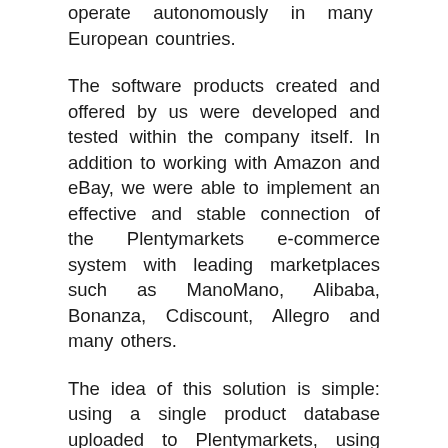operate autonomously in many European countries.
The software products created and offered by us were developed and tested within the company itself. In addition to working with Amazon and eBay, we were able to implement an effective and stable connection of the Plentymarkets e-commerce system with leading marketplaces such as ManoMano, Alibaba, Bonanza, Cdiscount, Allegro and many others.
The idea of this solution is simple: using a single product database uploaded to Plentymarkets, using plug-in connectors (plug-ins), a stable interaction of these two systems is ensured.
The idea of this solution is simple: using a single product database uploaded to Plentymarkets,